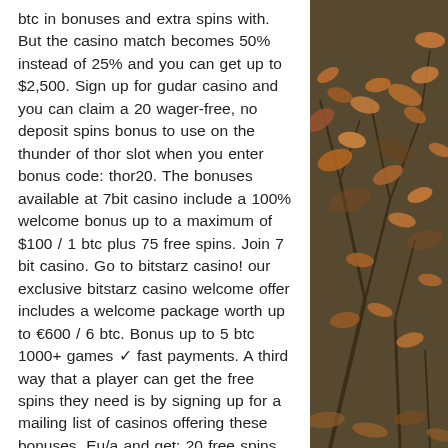btc in bonuses and extra spins with. But the casino match becomes 50% instead of 25% and you can get up to $2,500. Sign up for gudar casino and you can claim a 20 wager-free, no deposit spins bonus to use on the thunder of thor slot when you enter bonus code: thor20. The bonuses available at 7bit casino include a 100% welcome bonus up to a maximum of $100 / 1 btc plus 75 free spins. Join 7 bit casino. Go to bitstarz casino! our exclusive bitstarz casino welcome offer includes a welcome package worth up to €600 / 6 btc. Bonus up to 5 btc 1000+ games ✓ fast payments. A third way that a player can get the free spins they need is by signing up for a mailing list of casinos offering these bonuses. Eu/a and get: 20 free spins on sign up (no deposit required). Bitstarz casino – domnitors free spins no deposit bonus codes get 20 free. Cryptocurrency casinos with exclusive bonus
[Figure (photo): Autumn foliage photo showing dried brown/orange leaves and branches on a tree or shrub, outdoor nature scene]